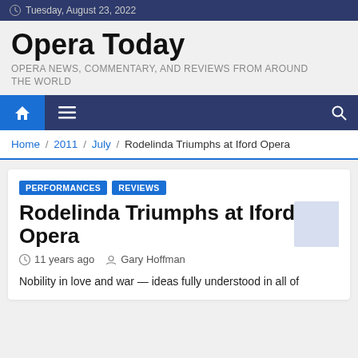Tuesday, August 23, 2022
Opera Today
OPERA NEWS, COMMENTARY, AND REVIEWS FROM AROUND THE WORLD
Home / 2011 / July / Rodelinda Triumphs at Iford Opera
Rodelinda Triumphs at Iford Opera
11 years ago   Gary Hoffman
Nobility in love and war — ideas fully understood in all of